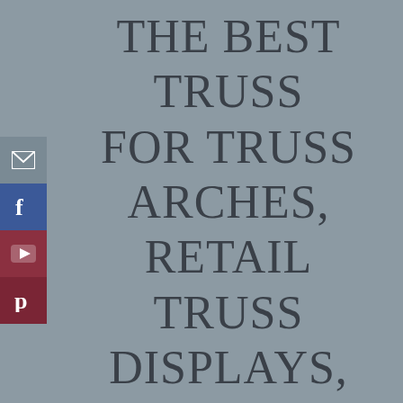THE BEST TRUSS FOR TRUSS ARCHES, RETAIL TRUSS DISPLAYS, PORTABLE
[Figure (infographic): Social media sidebar with icons for email, Facebook, YouTube, and Pinterest]